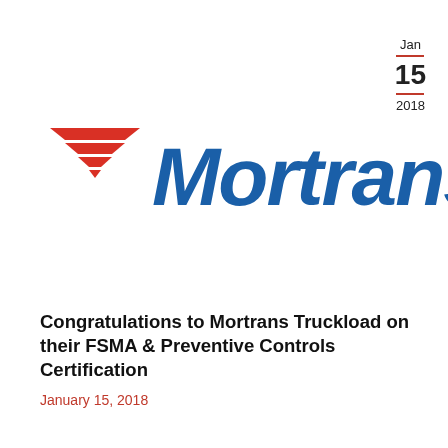Jan — 15 — 2018
[Figure (logo): Mortrans company logo: red downward-pointing chevron/triangle made of horizontal stripes on the left, followed by bold italic blue text reading 'Mortrans']
Congratulations to Mortrans Truckload on their FSMA & Preventive Controls Certification
January 15, 2018